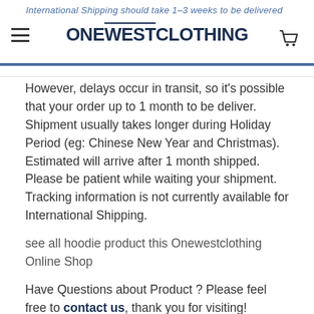International Shipping should take 1-3 weeks to be delivered after being shipped — ONEWESTCLOTHING
However, delays occur in transit, so it's possible that your order up to 1 month to be deliver. Shipment usually takes longer during Holiday Period (eg: Chinese New Year and Christmas). Estimated will arrive after 1 month shipped. Please be patient while waiting your shipment. Tracking information is not currently available for International Shipping.
see all hoodie product this Onewestclothing Online Shop
Have Questions about Product ? Please feel free to contact us, thank you for visiting!
Thank you for buying Hogwarts School Disney Logo Hoodie